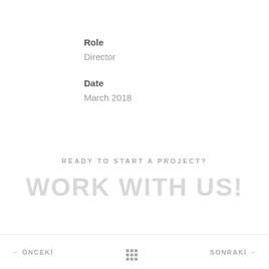Role
Director
Date
March 2018
READY TO START A PROJECT?
WORK WITH US!
← ÖNCEKİ  ⊞  SONRAKİ →